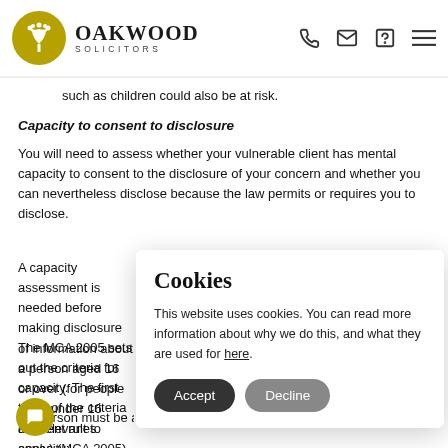OAKWOOD SOLICITORS
such as children could also be at risk.
Capacity to consent to disclosure
You will need to assess whether your vulnerable client has mental capacity to consent to the disclosure of your concern and whether you can nevertheless disclose because the law permits or requires you to disclose.
A capacity assessment is needed before making disclosure of information about a person aged 16 or over (for people aged under 16 different rules apply) (MCA 2005).
The MCA 2005 sets out the criteria for capacity. The first three of the criteria are relevant to capacity:
A person must be assumed to have capacity unless it is established that they lack capacity – Section 1(2)
[Figure (screenshot): Cookies consent dialog overlay: Title 'Cookies', body text 'This website uses cookies. You can read more information about why we do this, and what they are used for here.', with Accept and Decline buttons.]